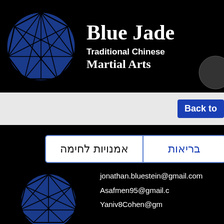[Figure (logo): Blue gem/diamond logo - Blue Jade Traditional Chinese Martial Arts with a partially visible circle icon on the right]
Blue Jade
Traditional Chinese
Martial Arts
Back to
אמנויות לחימה | בריאות
[Figure (logo): Blue gem/diamond logo bottom left]
jonathan.bluestein@gmail.com
Asafmen95@gmail.c
Yaniv8Cohen@gm